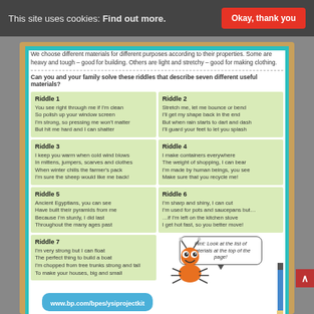This site uses cookies: Find out more.  Okay, thank you
We choose different materials for different purposes according to their properties. Some are heavy and tough – good for building. Others are light and stretchy – good for making clothing.
Can you and your family solve these riddles that describe seven different useful materials?
Riddle 1
You see right through me if I'm clean
So polish up your window screen
I'm strong, so pressing me won't matter
But hit me hard and I can shatter
Riddle 2
Stretch me, let me bounce or bend
I'll get my shape back in the end
But when rain starts to dart and dash
I'll guard your feet to let you splash
Riddle 3
I keep you warm when cold wind blows
In mittens, jumpers, scarves and clothes
When winter chills the farmer's pack
I'm sure the sheep would like me back!
Riddle 4
I make containers everywhere
The weight of shopping, I can bear
I'm made by human beings, you see
Make sure that you recycle me!
Riddle 5
Ancient Egyptians, you can see
Have built their pyramids from me
Because I'm sturdy, I did last
Throughout the many ages past
Riddle 6
I'm sharp and shiny, I can cut
I'm used for pots and saucepans but…
…if I'm left on the kitchen stove
I get hot fast, so you better move!
Riddle 7
I'm very strong but I can float
The perfect thing to build a boat
I'm chopped from tree trunks strong and tall
To make your houses, big and small
[Figure (illustration): Orange cartoon ant/bug mascot with speech bubble saying 'Hint: Look at the list of materials at the top of the page!' and a blue pencil on the right side]
www.bp.com/bpes/ysiprojectkit